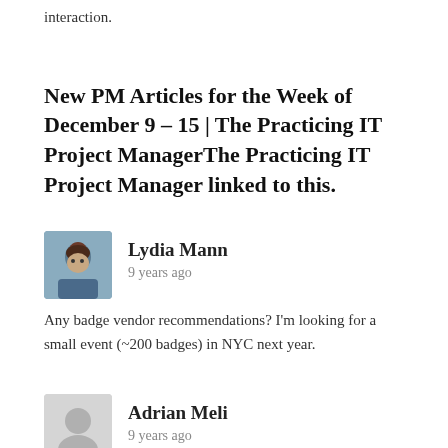interaction.
New PM Articles for the Week of December 9 – 15 | The Practicing IT Project ManagerThe Practicing IT Project Manager linked to this.
Lydia Mann
9 years ago
Any badge vendor recommendations? I'm looking for a small event (~200 badges) in NYC next year.
Adrian Meli
9 years ago
Probably the first post I have read on badges. Good points-there is a shockingly high percentage of bad badges out there so bending the curve would be nice!